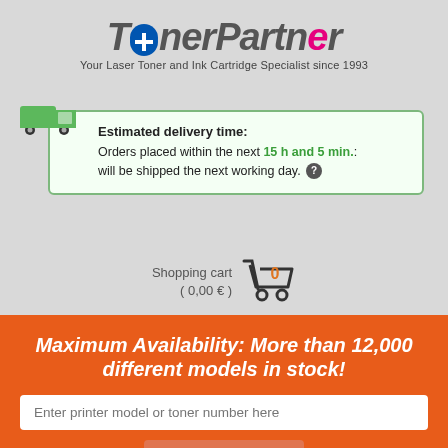[Figure (logo): TonerPartner logo with Finland flag cross in the T, multicolored letters, tagline below]
Your Laser Toner and Ink Cartridge Specialist since 1993
Estimated delivery time: Orders placed within the next 15 h and 5 min.: will be shipped the next working day.
Shopping cart ( 0,00 € )
Maximum Availability: More than 12,000 different models in stock!
Enter printer model or toner number here
FIND